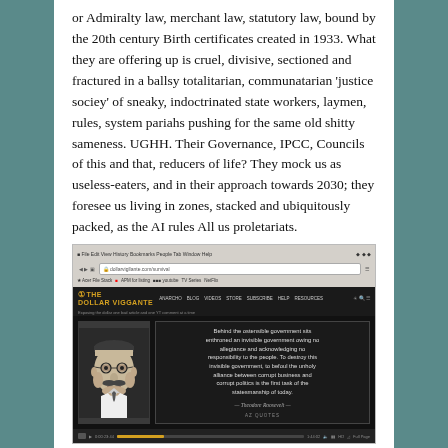or Admiralty law, merchant law, statutory law, bound by the 20th century Birth certificates created in 1933. What they are offering up is cruel, divisive, sectioned and fractured in a ballsy totalitarian, communatarian 'justice sociey' of sneaky, indoctrinated state workers, laymen, rules, system pariahs pushing for the same old shitty sameness. UGHH. Their Governance, IPCC, Councils of this and that, reducers of life? They mock us as useless-eaters, and in their approach towards 2030; they foresee us living in zones, stacked and ubiquitously packed, as the AI rules All us proletariats.
[Figure (screenshot): Screenshot of The Dollar Vigilante website showing a browser window with a Theodore Roosevelt quote on a dark background: 'Behind the ostensible government sits enthroned an invisible government owing no allegiance and acknowledging no responsibility to the people. To destroy this invisible government, to befoul the unholy alliance between corrupt business and corrupt politics is the first task of the statesmanship of today. — Theodore Roosevelt — AZ Quotes'. A black and white portrait of Theodore Roosevelt is on the left side.]